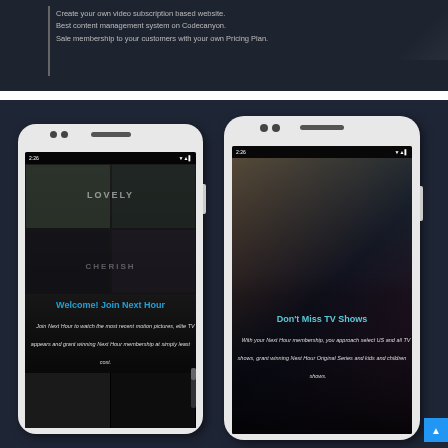[Figure (screenshot): Dark-background promotional banner with text about creating a video subscription-based website on Codecanyon with pricing plan membership system.]
Create your own video subscription based website. Best content management system on Codecanyon. Sale membership to your customers with your own Pricing Plan.
[Figure (screenshot): Two Android smartphones side by side on dark blue background. Left phone shows a Welcome screen for 'Next Hour' streaming app with movie thumbnails and text 'Welcome! Join Next Hour' with italic body text. Right phone shows 'Don't Miss TV Shows' screen with a dark moody background image and descriptive text about Next Hour membership.]